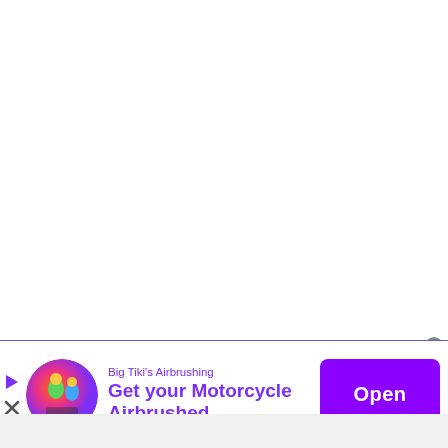[Figure (screenshot): Advertisement banner for Big Tiki's Airbrushing showing a circular logo with cartoon characters, text 'Big Tiki's Airbrushing / Get your Motorcycle Airbrushed', and a purple 'Open' button. A close (X) circle button appears in the top-right of the banner.]